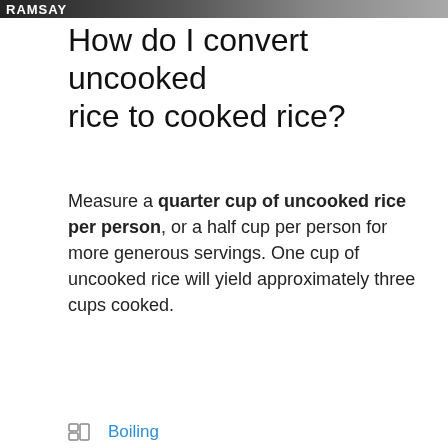[Figure (photo): Partial header image with text 'RAMSAY' in bold white on dark background]
How do I convert uncooked rice to cooked rice?
Measure a quarter cup of uncooked rice per person, or a half cup per person for more generous servings. One cup of uncooked rice will yield approximately three cups cooked.
Boiling (category link)
[Figure (screenshot): Search bar with placeholder text 'Search ...' and a dark search button with magnifying glass icon]